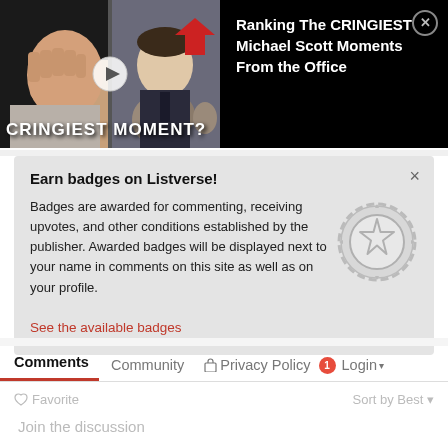[Figure (screenshot): Video thumbnail showing two people with text 'CRINGIEST MOMENT?' overlaid. Title reads 'Ranking The CRINGIEST Michael Scott Moments From the Office' with a close button.]
Earn badges on Listverse!
Badges are awarded for commenting, receiving upvotes, and other conditions established by the publisher. Awarded badges will be displayed next to your name in comments on this site as well as on your profile.
See the available badges
Comments  Community  Privacy Policy  1  Login
Favorite  Sort by Best
Join the discussion